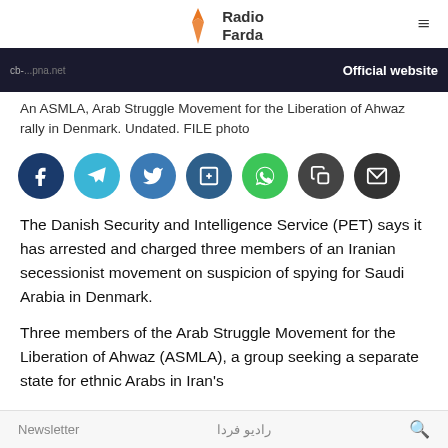Radio Farda
[Figure (photo): Dark image with text overlay reading 'Official website' on the right side, and a subdomain label 'cb-...pna.net' on the left.]
An ASMLA, Arab Struggle Movement for the Liberation of Ahwaz rally in Denmark. Undated. FILE photo
[Figure (infographic): Row of social media sharing icon buttons: Facebook (dark blue), Telegram (light blue), Twitter (blue), Share/bookmark (dark blue), WhatsApp (green), Copy (dark grey), Email (dark grey)]
The Danish Security and Intelligence Service (PET) says it has arrested and charged three members of an Iranian secessionist movement on suspicion of spying for Saudi Arabia in Denmark.
Three members of the Arab Struggle Movement for the Liberation of Ahwaz (ASMLA), a group seeking a separate state for ethnic Arabs in Iran's
Newsletter    رادیو فردا    🔍